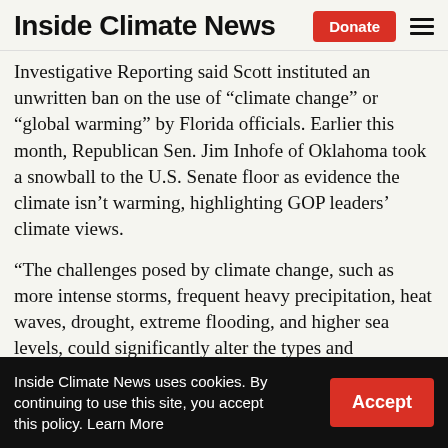Inside Climate News
Investigative Reporting said Scott instituted an unwritten ban on the use of “climate change” or “global warming” by Florida officials. Earlier this month, Republican Sen. Jim Inhofe of Oklahoma took a snowball to the U.S. Senate floor as evidence the climate isn’t warming, highlighting GOP leaders’ climate views.
“The challenges posed by climate change, such as more intense storms, frequent heavy precipitation, heat waves, drought, extreme flooding, and higher sea levels, could significantly alter the types and magnitudes of hazards in the future.” FEMA
Inside Climate News uses cookies. By continuing to use this site, you accept this policy. Learn More